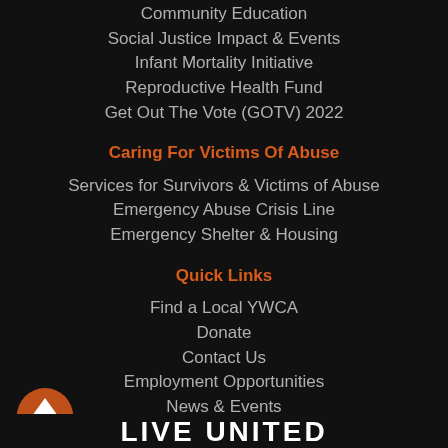Community Education
Social Justice Impact & Events
Infant Mortality Initiative
Reproductive Health Fund
Get Out The Vote (GOTV) 2022
Caring For Victims Of Abuse
Services for Survivors & Victims of Abuse
Emergency Abuse Crisis Line
Emergency Shelter & Housing
Quick Links
Find a Local YWCA
Donate
Contact Us
Employment Opportunities
News & Events
QUICK ESCAPE
LIVE UNITED